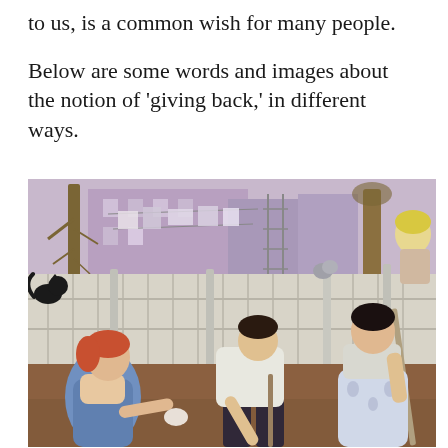to us, is a common wish for many people.

Below are some words and images about the notion of 'giving back,' in different ways.
[Figure (illustration): A painting depicting three women working together in a backyard or courtyard setting. On the left, a red-haired woman in a blue apron sits on the ground reaching out. In the center, a dark-haired person in dark trousers and a white shirt bends over working. On the right, a woman in a blue floral dress holds a long-handled broom. Behind them is a white wooden fence, urban buildings, laundry on lines, and a bare tree. A woman with blonde hair is visible in the upper right background. The style is early 20th-century American realist painting.]